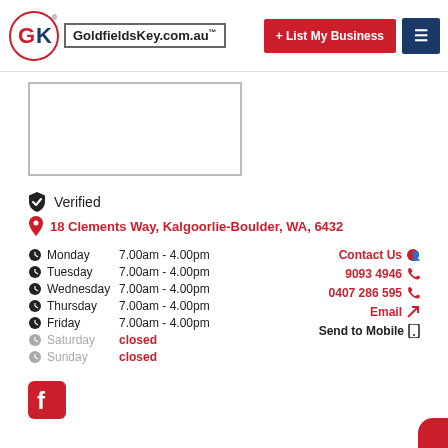GoldfieldsKey.com.au — navigation header with List My Business button and menu
[Figure (other): Image placeholder box (empty bordered rectangle)]
Verified
18 Clements Way, Kalgoorlie-Boulder, WA, 6432
| Day | Hours |
| --- | --- |
| Monday | 7.00am - 4.00pm |
| Tuesday | 7.00am - 4.00pm |
| Wednesday | 7.00am - 4.00pm |
| Thursday | 7.00am - 4.00pm |
| Friday | 7.00am - 4.00pm |
| Saturday | closed |
| Sunday | closed |
Contact Us
9093 4946
0407 286 595
Email
Send to Mobile
[Figure (logo): Facebook logo icon (red square with white f)]